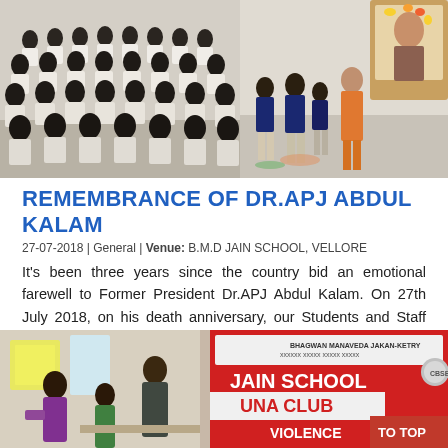[Figure (photo): School assembly photo showing rows of children in white uniforms sitting on the ground, and a few older girls in navy school uniforms standing near a decorated statue on the right side.]
REMEMBRANCE OF DR.APJ ABDUL KALAM
27-07-2018 | General | Venue: B.M.D JAIN SCHOOL, VELLORE
It's been three years since the country bid an emotional farewell to Former President Dr.APJ Abdul Kalam. On 27th July 2018, on his death anniversary, our Students and Staff paid homage to the ...
Read more…
[Figure (photo): Indoor event photo showing school staff/adults near a banner reading 'JAIN SCHOOL ... LUNA CLUB ... VIOLENCE' with a red and white banner visible in the background.]